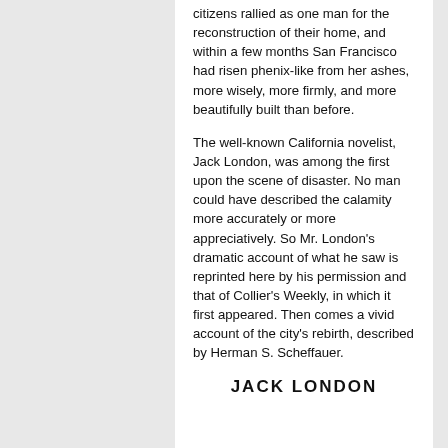citizens rallied as one man for the reconstruction of their home, and within a few months San Francisco had risen phenix-like from her ashes, more wisely, more firmly, and more beautifully built than before.
The well-known California novelist, Jack London, was among the first upon the scene of disaster. No man could have described the calamity more accurately or more appreciatively. So Mr. London's dramatic account of what he saw is reprinted here by his permission and that of Collier's Weekly, in which it first appeared. Then comes a vivid account of the city's rebirth, described by Herman S. Scheffauer.
JACK LONDON